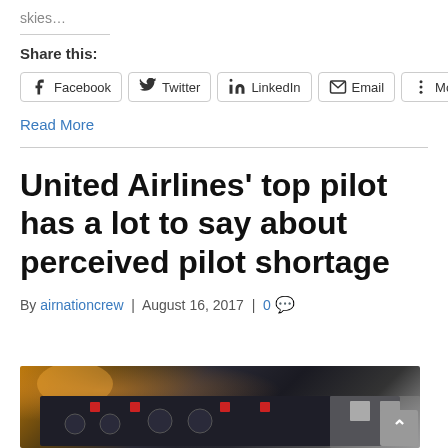skies…
Share this:
Facebook | Twitter | LinkedIn | Email | More
Read More
United Airlines' top pilot has a lot to say about perceived pilot shortage
By airnationcrew | August 16, 2017 | 0
[Figure (photo): Cockpit instrument panel of an aircraft viewed from behind]